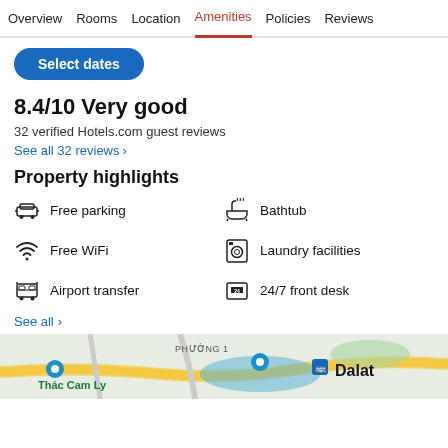Overview  Rooms  Location  Amenities  Policies  Reviews
Select dates
8.4/10 Very good
32 verified Hotels.com guest reviews
See all 32 reviews >
Property highlights
Free parking
Bathtub
Free WiFi
Laundry facilities
Airport transfer
24/7 front desk
See all >
[Figure (map): Map showing Dalat area with Thac Cam Ly and Phuong 1 labels]